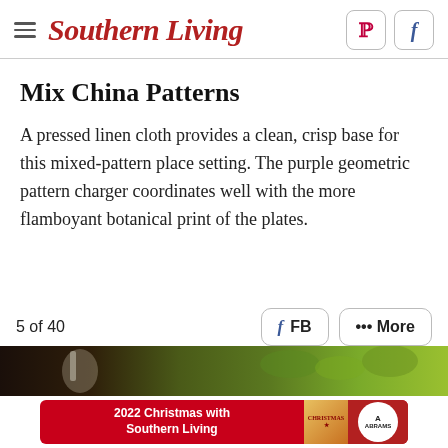Southern Living
Mix China Patterns
A pressed linen cloth provides a clean, crisp base for this mixed-pattern place setting. The purple geometric pattern charger coordinates well with the more flamboyant botanical print of the plates.
5 of 40
[Figure (photo): Photo strip showing table setting with candles and greenery]
[Figure (infographic): Advertisement banner: 2022 Christmas with Southern Living, published by Abrams]